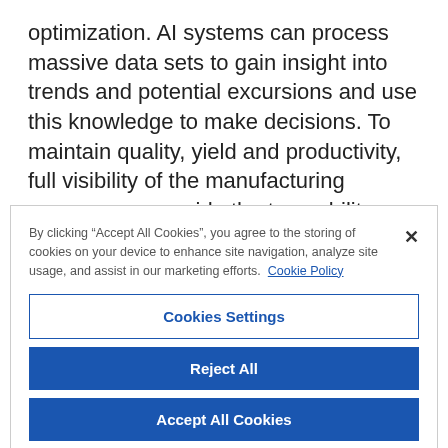optimization. AI systems can process massive data sets to gain insight into trends and potential excursions and use this knowledge to make decisions. To maintain quality, yield and productivity, full visibility of the manufacturing process can provide the traceability required to drive continuous
By clicking “Accept All Cookies”, you agree to the storing of cookies on your device to enhance site navigation, analyze site usage, and assist in our marketing efforts. Cookie Policy
Cookies Settings
Reject All
Accept All Cookies